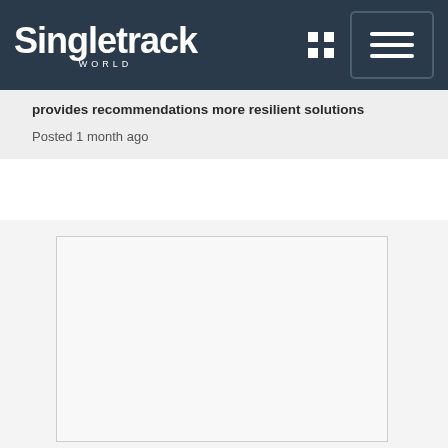Singletrack WORLD
provides recommendations more resilient solutions
Posted 1 month ago
[Figure (photo): Large image placeholder with light gray background and thin border, content area below header]